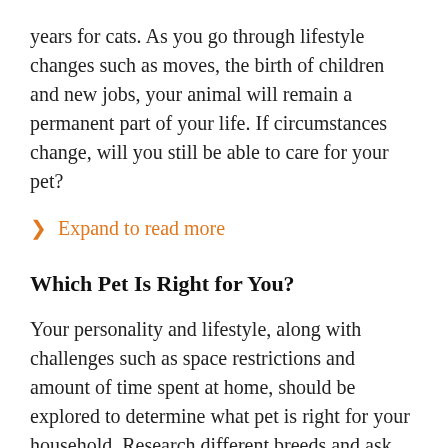years for cats. As you go through lifestyle changes such as moves, the birth of children and new jobs, your animal will remain a permanent part of your life. If circumstances change, will you still be able to care for your pet?
> Expand to read more
Which Pet Is Right for You?
Your personality and lifestyle, along with challenges such as space restrictions and amount of time spent at home, should be explored to determine what pet is right for your household. Research different breeds and ask shelter staffers for guidance—they're experts at